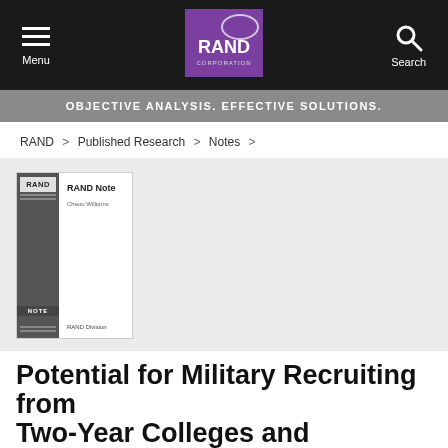Menu | RAND Corporation | Search
OBJECTIVE ANALYSIS. EFFECTIVE SOLUTIONS.
RAND > Published Research > Notes >
[Figure (illustration): RAND Note book cover thumbnail showing RAND logo, dark left column, 'RAND Note' title, author name, and 'RAND Division' publisher text]
Potential for Military Recruiting from Two-Year Colleges and